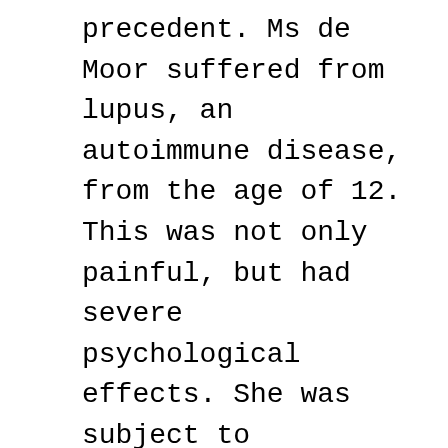precedent. Ms de Moor suffered from lupus, an autoimmune disease, from the age of 12. This was not only painful, but had severe psychological effects. She was subject to depression, mood swings, anger, blackouts and nerve pain. At least three years ago she requested euthanasia.
According to the story given to the media by her family and doctors, it appeared that all the necessary people had agreed, in accordance with the Dutch law on euthanasia. Her parents supported her decision. A date was set for her death. However, at